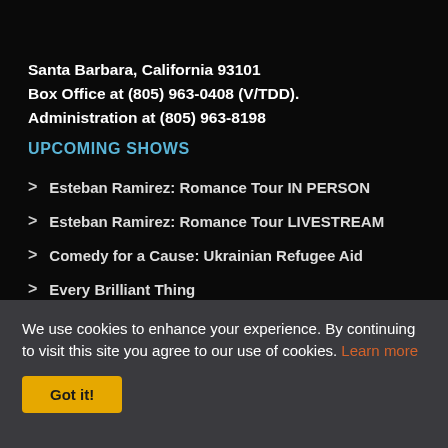Santa Barbara, California 93101
Box Office at (805) 963-0408 (V/TDD).
Administration at (805) 963-8198
UPCOMING SHOWS
Esteban Ramirez: Romance Tour IN PERSON
Esteban Ramirez: Romance Tour LIVESTREAM
Comedy for a Cause: Ukrainian Refugee Aid
Every Brilliant Thing
ABOUT CENTER STAGE
We use cookies to enhance your experience. By continuing to visit this site you agree to our use of cookies. Learn more
Got it!